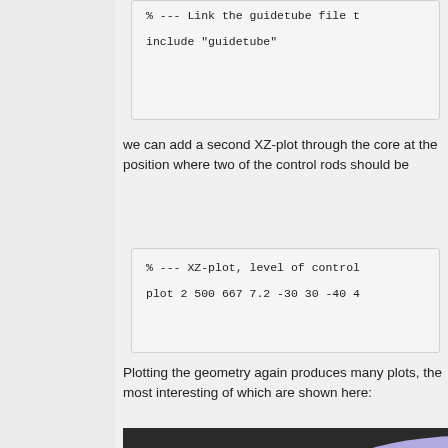% --- Link the guidetube file t

include "guidetube"
we can add a second XZ-plot through the core at the position where two of the control rods should be
% --- XZ-plot, level of control

plot 2 500 667 7.2 -30 30 -40 4
Plotting the geometry again produces many plots, the most interesting of which are shown here:
[Figure (illustration): Geometry plot showing a circular reactor core cross-section with a dark background, a large purple/lavender semicircle, and rows of yellow/gold circles arranged in a grid pattern representing fuel pins or guide tubes.]